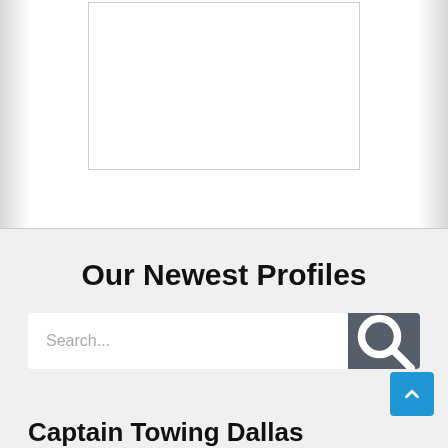[Figure (other): Empty white image placeholder with thin gray border]
Our Newest Profiles
[Figure (screenshot): Search bar with text input field showing 'Search...' placeholder and a dark gray search button with magnifying glass icon]
Captain Towing Dallas